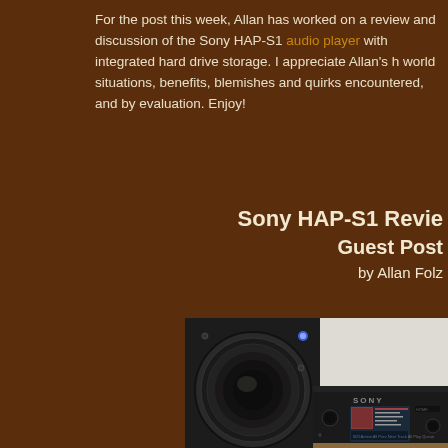For the post this week, Allan has worked on a review and discussion of the Sony HAP-S1 audio player with integrated hard drive storage. I appreciate Allan's handling of real world situations, benefits, blemishes and quirks encountered, and by that I mean a thorough evaluation. Enjoy!
Sony HAP-S1 Review – Guest Post
by Allan Folz
[Figure (photo): Photo of a Sony HAP-S1 audio player device with a display screen showing a music library/playlist interface, positioned in front of a speaker with a blue LED indicator light]